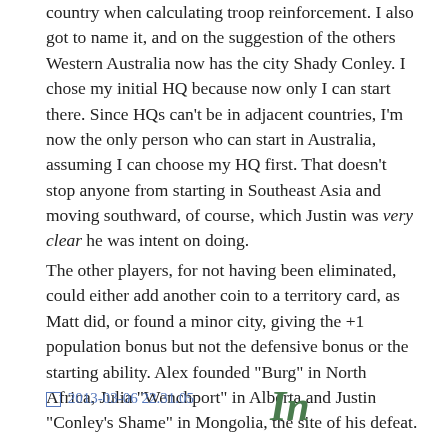country when calculating troop reinforcement. I also got to name it, and on the suggestion of the others Western Australia now has the city Shady Conley. I chose my initial HQ because now only I can start there. Since HQs can't be in adjacent countries, I'm now the only person who can start in Australia, assuming I can choose my HQ first. That doesn't stop anyone from starting in Southeast Asia and moving southward, of course, which Justin was very clear he was intent on doing.
The other players, for not having been eliminated, could either add another coin to a territory card, as Matt did, or found a minor city, giving the +1 population bonus but not the defensive bonus or the starting ability. Alex founded "Burg" in North Africa, Julia "Wenchport" in Alberta and Justin "Conley's Shame" in Mongolia, the site of his defeat.
[Figure (other): A broken image link labeled 2013-03-06 22.31.05]
[Figure (logo): Green italic bold 'In' logo]